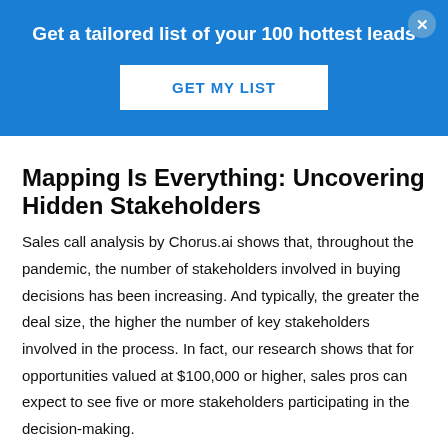Get a tailored list of your 100 hottest leads
GET MY LIST
Mapping Is Everything: Uncovering Hidden Stakeholders
Sales call analysis by Chorus.ai shows that, throughout the pandemic, the number of stakeholders involved in buying decisions has been increasing. And typically, the greater the deal size, the higher the number of key stakeholders involved in the process. In fact, our research shows that for opportunities valued at $100,000 or higher, sales pros can expect to see five or more stakeholders participating in the decision-making.